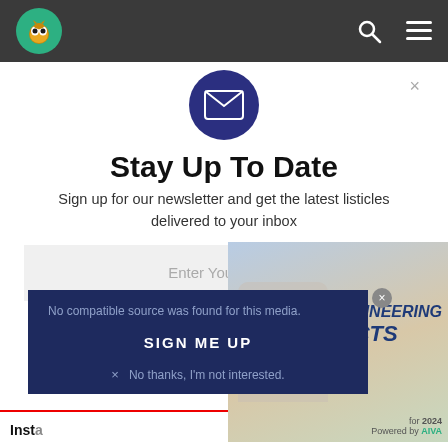[Figure (screenshot): Website navigation bar with owl logo, search icon, and hamburger menu on dark background]
[Figure (screenshot): Email newsletter signup modal with envelope icon, title, subtitle, email input field, sign me up button, and overlapping ad popup]
Stay Up To Date
Sign up for our newsletter and get the latest listicles delivered to your inbox
No compatible source was found for this media.
SIGN ME UP
No thanks, I'm not interested.
BEST SOFTWARE ENGINEERING PROJECTS
for 2024
Powered by AIVA